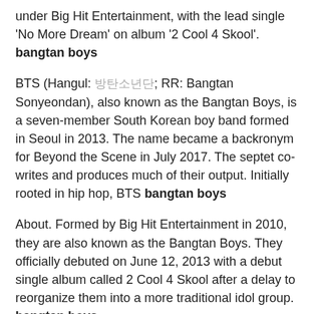under Big Hit Entertainment, with the lead single 'No More Dream' on album '2 Cool 4 Skool'. bangtan boys
BTS (Hangul: 방탄소년단; RR: Bangtan Sonyeondan), also known as the Bangtan Boys, is a seven-member South Korean boy band formed in Seoul in 2013. The name became a backronym for Beyond the Scene in July 2017. The septet co-writes and produces much of their output. Initially rooted in hip hop, BTS bangtan boys
About. Formed by Big Hit Entertainment in 2010, they are also known as the Bangtan Boys. They officially debuted on June 12, 2013 with a debut single album called 2 Cool 4 Skool after a delay to reorganize them into a more traditional idol group. bangtan boys
BTS (Korean: 방탄소년단; RR: Bangtan Sonyeondan), also known as the Bangtan Boys, is a seven-member South Korean boy band formed in Seoul in 2010. The septet co-writes and produces much of their output. Originally a hip hop group, their musical